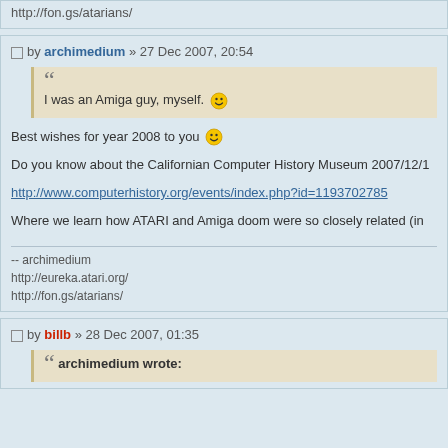http://fon.gs/atarians/
by archimedium » 27 Dec 2007, 20:54
I was an Amiga guy, myself. :)
Best wishes for year 2008 to you :)
Do you know about the Californian Computer History Museum 2007/12/1
http://www.computerhistory.org/events/index.php?id=1193702785
Where we learn how ATARI and Amiga doom were so closely related (in
-- archimedium
http://eureka.atari.org/
http://fon.gs/atarians/
by billb » 28 Dec 2007, 01:35
archimedium wrote: